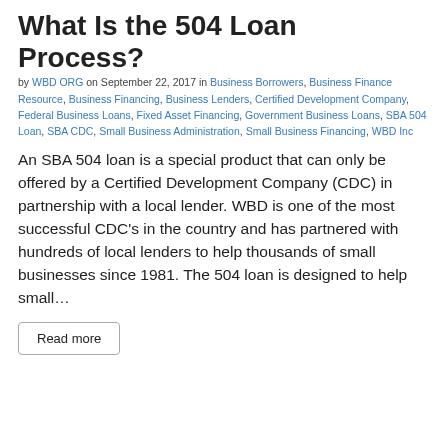What Is the 504 Loan Process?
by WBD ORG on September 22, 2017 in Business Borrowers, Business Finance Resource, Business Financing, Business Lenders, Certified Development Company, Federal Business Loans, Fixed Asset Financing, Government Business Loans, SBA 504 Loan, SBA CDC, Small Business Administration, Small Business Financing, WBD Inc
An SBA 504 loan is a special product that can only be offered by a Certified Development Company (CDC) in partnership with a local lender. WBD is one of the most successful CDC's in the country and has partnered with hundreds of local lenders to help thousands of small businesses since 1981. The 504 loan is designed to help small…
Read more